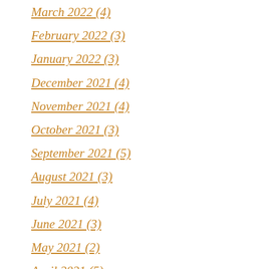March 2022 (4)
February 2022 (3)
January 2022 (3)
December 2021 (4)
November 2021 (4)
October 2021 (3)
September 2021 (5)
August 2021 (3)
July 2021 (4)
June 2021 (3)
May 2021 (2)
April 2021 (5)
March 2021 (5)